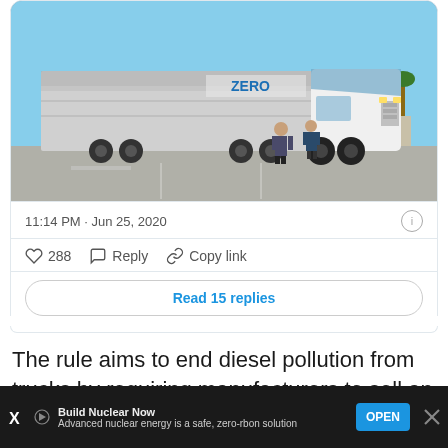[Figure (photo): A white semi truck with 'ZERO' branding and a long trailer parked in a lot, with two people standing next to the cab under a blue sky.]
11:14 PM · Jun 25, 2020
♡ 288   Reply   Copy link
Read 15 replies
The rule aims to end diesel pollution from trucks by requiring manufacturers to sell an increasing percentage of zero-emissions trucks beginning
[Figure (screenshot): Advertisement bar at bottom: Build Nuclear Now — Advanced nuclear energy is a safe, zero-carbon solution — OPEN button]